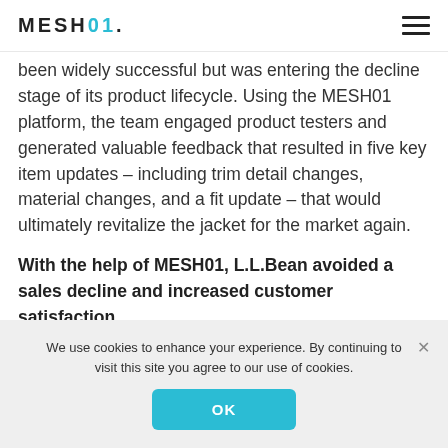MESH01
been widely successful but was entering the decline stage of its product lifecycle. Using the MESH01 platform, the team engaged product testers and generated valuable feedback that resulted in five key item updates – including trim detail changes, material changes, and a fit update – that would ultimately revitalize the jacket for the market again.
With the help of MESH01, L.L.Bean avoided a sales decline and increased customer satisfaction.
For many brands, a high percentage of revenue comes from a few top products, making it all the
We use cookies to enhance your experience. By continuing to visit this site you agree to our use of cookies.